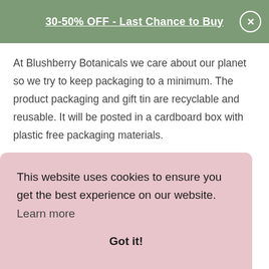30-50% OFF - Last Chance to Buy
At Blushberry Botanicals we care about our planet so we try to keep packaging to a minimum. The product packaging and gift tin are recyclable and reusable. It will be posted in a cardboard box with plastic free packaging materials.
If you have any questions or concerns about our products, please get in touch!
This website uses cookies to ensure you get the best experience on our website.  Learn more

Got it!